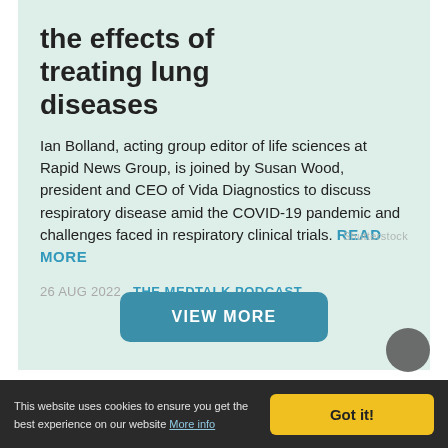the effects of treating lung diseases
Ian Bolland, acting group editor of life sciences at Rapid News Group, is joined by Susan Wood, president and CEO of Vida Diagnostics to discuss respiratory disease amid the COVID-19 pandemic and challenges faced in respiratory clinical trials. READ MORE
26 AUG 2022   THE MEDTALK PODCAST
VIEW MORE
This website uses cookies to ensure you get the best experience on our website More info
Got it!